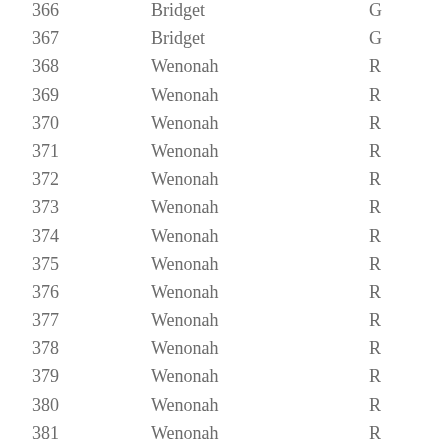| 366 | Bridget | G |
| 367 | Bridget | G |
| 368 | Wenonah | R |
| 369 | Wenonah | R |
| 370 | Wenonah | R |
| 371 | Wenonah | R |
| 372 | Wenonah | R |
| 373 | Wenonah | R |
| 374 | Wenonah | R |
| 375 | Wenonah | R |
| 376 | Wenonah | R |
| 377 | Wenonah | R |
| 378 | Wenonah | R |
| 379 | Wenonah | R |
| 380 | Wenonah | R |
| 381 | Wenonah | R |
| 382 | Wenonah | R |
| 383 | Wenonah | R |
| 384 | Ashlee | B |
| 385 | Ashlee | B |
| 386 | Ashlee | B |
| 387 | Ashlee | B |
| 388 | Ashlee | B |
| 389 | Ashlee | B |
| 390 | Ashlee | B |